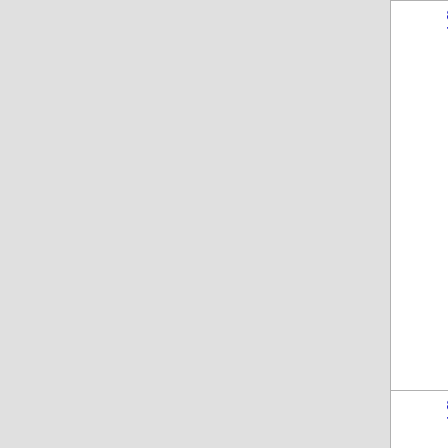| Number | State | Company Name | Code |
| --- | --- | --- | --- |
| 864-740-2 | SC | PEERLESS NETWORK OF SOUTH CARO | 098H ... |
| 864-740-3 | SC | ONVOY, LLC - SC (Inteliquent) | 548E ... |